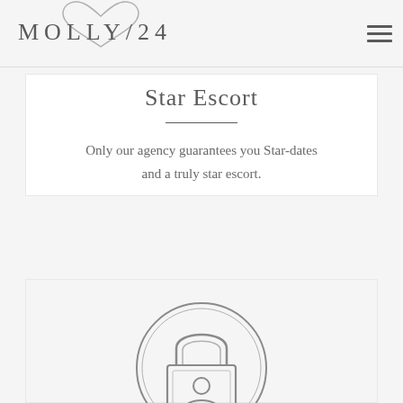MOLLY/24
Star Escort
Only our agency guarantees you Star-dates and a truly star escort.
[Figure (illustration): A padlock icon with a person/profile silhouette on the body of the lock, enclosed in a circle outline. The lock and circle are drawn in a thin gray outline style.]